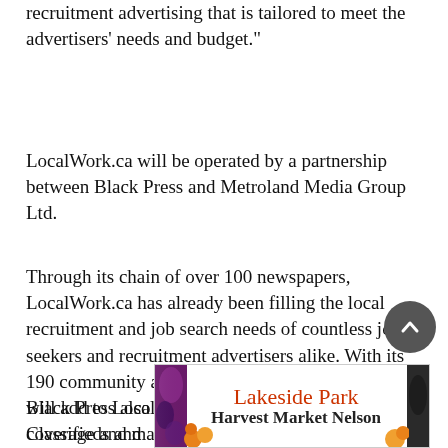recruitment advertising that is tailored to meet the advertisers' needs and budget."
LocalWork.ca will be operated by a partnership between Black Press and Metroland Media Group Ltd.
Through its chain of over 100 newspapers, LocalWork.ca has already been filling the local recruitment and job search needs of countless job seekers and recruitment advertisers alike. With its 190 community and daily newspapers, Black Press will add to LocalWork.ca's already extensive coverage and market, and will add valuable resources and services for our users.
Black Press also owns and operates BC Classifieds and
[Figure (illustration): Advertisement banner for Lakeside Park Harvest Market Nelson with decorative produce imagery on the sides.]